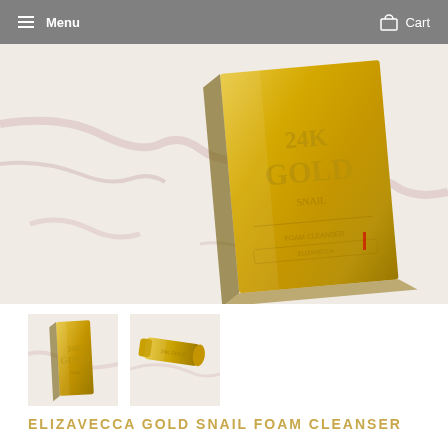Menu  Cart
[Figure (photo): Close-up photo of a gold metallic 24K GOLD tube/box product lying on a white marble surface with pink veining]
[Figure (photo): Thumbnail 1: gold metallic box product on marble surface]
[Figure (photo): Thumbnail 2: gold tube product on marble surface]
ELIZAVECCA GOLD SNAIL FOAM CLEANSER